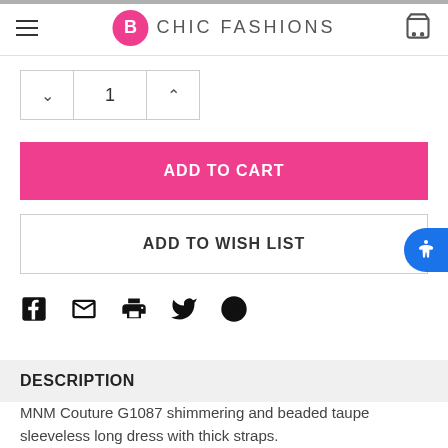B CHIC FASHIONS
[Figure (screenshot): Quantity selector with down arrow, value 1, and up arrow]
ADD TO CART
ADD TO WISH LIST
[Figure (infographic): Social share icons: Facebook, Email, Print, Twitter, Pinterest]
DESCRIPTION
MNM Couture G1087 shimmering and beaded taupe sleeveless long dress with thick straps.